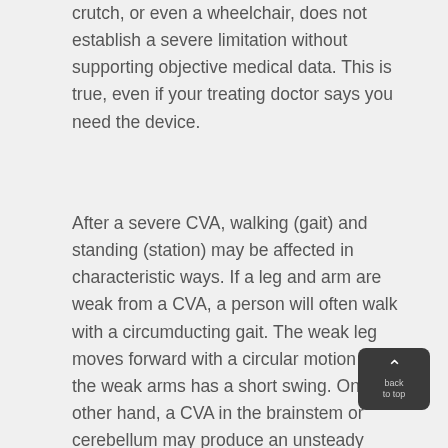crutch, or even a wheelchair, does not establish a severe limitation without supporting objective medical data. This is true, even if your treating doctor says you need the device.
After a severe CVA, walking (gait) and standing (station) may be affected in characteristic ways. If a leg and arm are weak from a CVA, a person will often walk with a circumducting gait. The weak leg moves forward with a circular motion and the weak arms has a short swing. On the other hand, a CVA in the brainstem or cerebellum may produce an unsteady (ataxic) gait, frequently with legs wide-based in an effort to compensate for the loss of balance. Your balance can be tested in neurological examination not only by observing your normal attempts at walking, but also by testing your ability to walk heel to toe. If there is weakness of the pelvic musculature, a